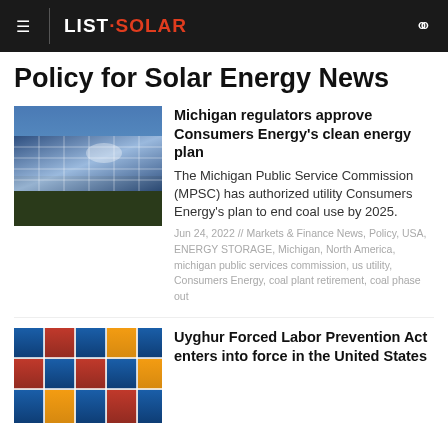LIST · SOLAR
Policy for Solar Energy News
[Figure (photo): Solar panels reflecting sunlight in an outdoor array]
Michigan regulators approve Consumers Energy's clean energy plan
The Michigan Public Service Commission (MPSC) has authorized utility Consumers Energy's plan to end coal use by 2025.
Jun 24, 2022 // Markets & Finance News, Policy, USA, ENERGY STORAGE, Michigan, North America, michigan public services commission, us utility, Consumers Energy, coal plant retirement, coal phase out
[Figure (photo): Stacked colorful shipping containers]
Uyghur Forced Labor Prevention Act enters into force in the United States